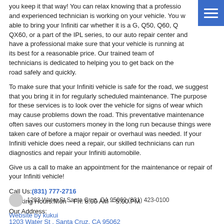you keep it that way! You can relax knowing that a professional and experienced technician is working on your vehicle. You were able to bring your Infiniti car whether it is a G, Q50, Q60, QX QX60, or a part of the IPL series, to our auto repair center and have a professional make sure that your vehicle is running at its best for a reasonable price. Our trained team of technicians is dedicated to helping you to get back on the road safely and quickly.
To make sure that your Infiniti vehicle is safe for the road, we suggest that you bring it in for regularly scheduled maintenance. The purpose for these services is to look over the vehicle for signs of wear which may cause problems down the road. This preventative maintenance often saves our customers money in the long run because things were taken care of before a major repair or overhaul was needed. If your Infiniti vehicle does need a repair, our skilled technicians can run diagnostics and repair your Infiniti automobile.
Give us a call to make an appointment for the maintenance or repair of your Infiniti vehicle!
Call Us: (831) 777-2716
Working Hours: Mon – Fri: 8:00 AM – 5:00 PM
Our Address:
1203 Water St , Santa Cruz, CA 95062
Get Directions
FacebookYelp
Image Credits| Privacy Policy
1203 Water St Santa Cruz, CA 95062 (831) 423-0100
Website by kukui